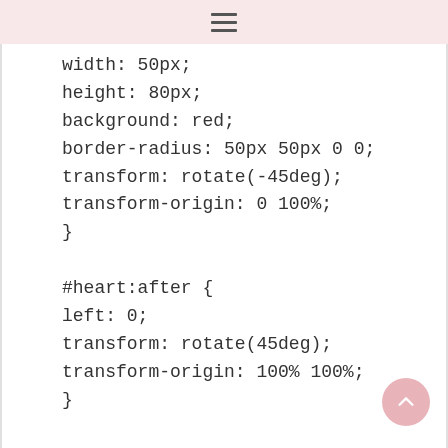≡
width: 50px;
height: 80px;
background: red;
border-radius: 50px 50px 0 0;
transform: rotate(-45deg);
transform-origin: 0 100%;
}

#heart:after {
left: 0;
transform: rotate(45deg);
transform-origin: 100% 100%;
}